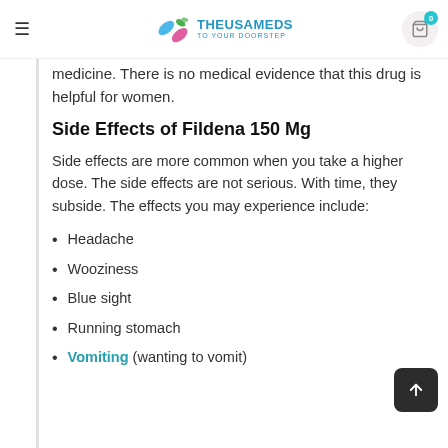THEUSAMEDS TO YOUR DOORSTEP
medicine. There is no medical evidence that this drug is helpful for women.
Side Effects of Fildena 150 Mg
Side effects are more common when you take a higher dose. The side effects are not serious. With time, they subside. The effects you may experience include:
Headache
Wooziness
Blue sight
Running stomach
Vomiting (wanting to vomit)